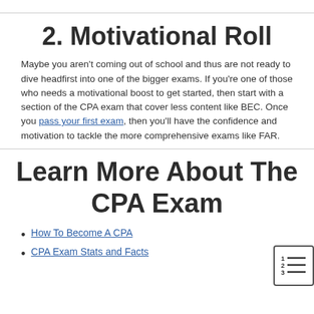2. Motivational Roll
Maybe you aren't coming out of school and thus are not ready to dive headfirst into one of the bigger exams. If you're one of those who needs a motivational boost to get started, then start with a section of the CPA exam that cover less content like BEC. Once you pass your first exam, then you'll have the confidence and motivation to tackle the more comprehensive exams like FAR.
Learn More About The CPA Exam
How To Become A CPA
CPA Exam Stats and Facts